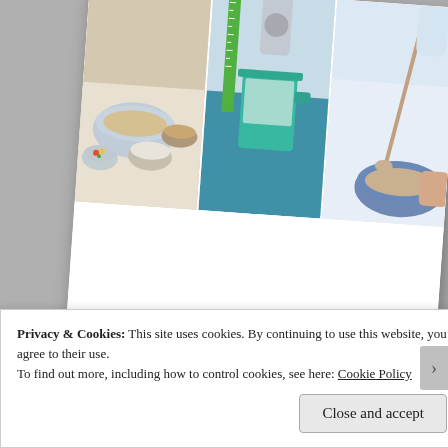[Figure (photo): A tilted book cover showing a collage of three food/cooking photos at the top (bowls with ingredients, a teal measuring cup on a blue surface, and someone spooning food from a blue bowl), with a white lower section containing the author name 'BY SARAH SVIEN KIRKCONNELL' in terracotta/salmon colored small caps lettering.]
Privacy & Cookies: This site uses cookies. By continuing to use this website, you agree to their use.
To find out more, including how to control cookies, see here: Cookie Policy